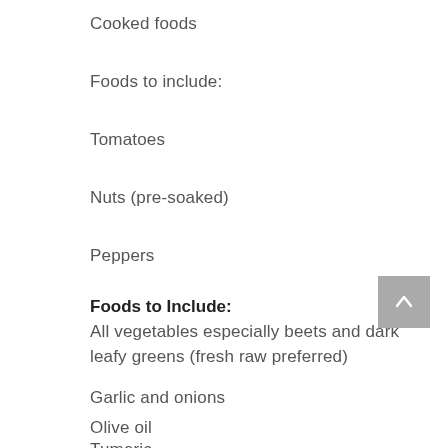Cooked foods
Foods to include:
Tomatoes
Nuts (pre-soaked)
Peppers
Foods to Include:
All vegetables especially beets and dark leafy greens (fresh raw preferred)
Garlic and onions
Olive oil
Tumeric